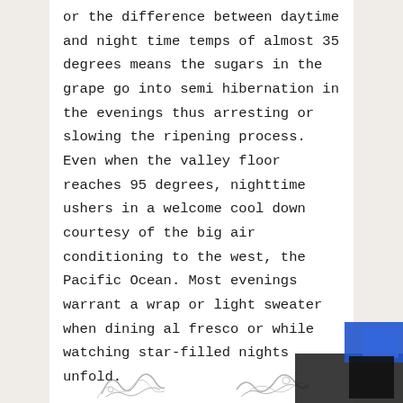or the difference between daytime and night time temps of almost 35 degrees means the sugars in the grape go into semi hibernation in the evenings thus arresting or slowing the ripening process. Even when the valley floor reaches 95 degrees, nighttime ushers in a welcome cool down courtesy of the big air conditioning to the west, the Pacific Ocean. Most evenings warrant a wrap or light sweater when dining al fresco or while watching star-filled nights unfold.
[Figure (illustration): Two decorative signature/illustration elements at the bottom of the page]